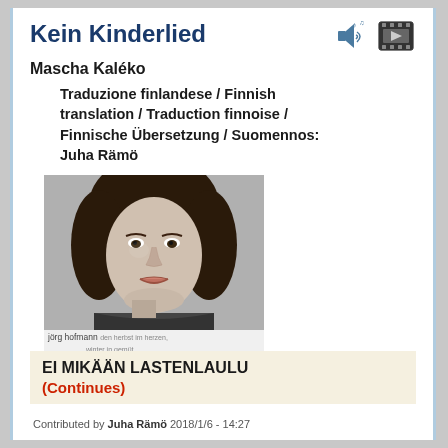Kein Kinderlied
Mascha Kaléko
Traduzione finlandese / Finnish translation / Traduction finnoise / Finnische Übersetzung / Suomennos: Juha Rämö
[Figure (photo): Black and white portrait photo of Mascha Kaléko with album/book cover text: jörg hofmann mascha kaléko, den herbst im herzen, winter im gemüt]
EI MIKÄÄN LASTENLAULU
(Continues)
Contributed by Juha Rämö 2018/1/6 - 14:27